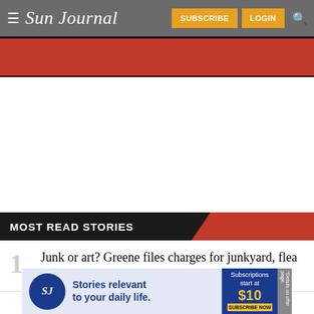Sun Journal — SUBSCRIBE  LOGIN
[Figure (screenshot): Red banner/advertisement area below navigation bar]
MOST READ STORIES
1  Junk or art? Greene files charges for junkyard, flea market violations
[Figure (screenshot): Sun Journal advertisement banner: 'Stories relevant to your daily life. Subscriptions start at $10 SUBSCRIBE NOW']